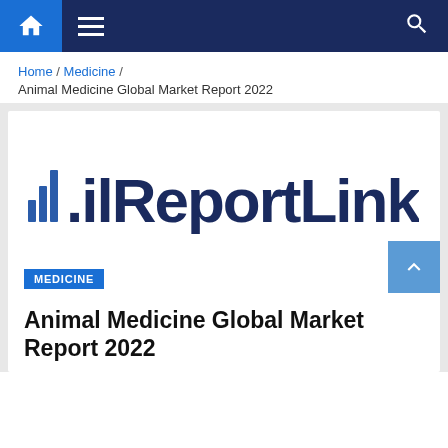Navigation bar with home, menu, and search icons
Home / Medicine /
Animal Medicine Global Market Report 2022
[Figure (logo): ReportLinker logo with bar chart icon on left and bold dark navy text reading '.ilReportLinker']
MEDICINE
Animal Medicine Global Market Report 2022